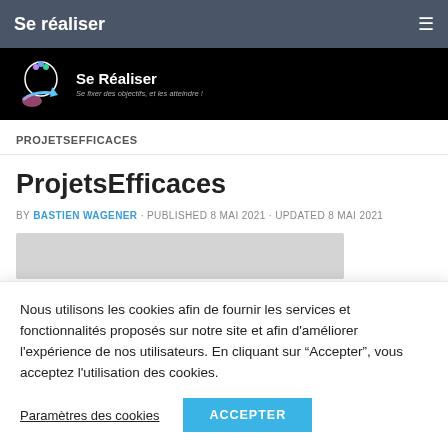Se réaliser
[Figure (logo): Se Réaliser website banner with head/brain logo and blue arrow, tagline: Se fixer des objectifs, et les atteindre !]
PROJETSEFFICACES
ProjetsEfficaces
BY BASTIEN WAGENER · PUBLISHED 8 MAI 2021 · UPDATED 8 MAI 2021
[Figure (other): Gray image placeholder rectangle]
Nous utilisons les cookies afin de fournir les services et fonctionnalités proposés sur notre site et afin d'améliorer l'expérience de nos utilisateurs. En cliquant sur "Accepter", vous acceptez l'utilisation des cookies.
Paramètres des cookies   ACCEPTER